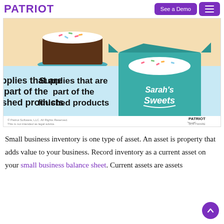PATRIOT | See a Demo
[Figure (illustration): Illustration showing a chocolate cake with white frosting and sprinkles on a teal plate (top), and a teal box with a cake inside labeled 'Sarah's Sweets' on a light blue background. Text reads 'Supplies that are part of the finished products'. Bottom has Patriot Software copyright and logo.]
Small business inventory is one type of asset. An asset is property that adds value to your business. Record inventory as a current asset on your small business balance sheet. Current assets are assets